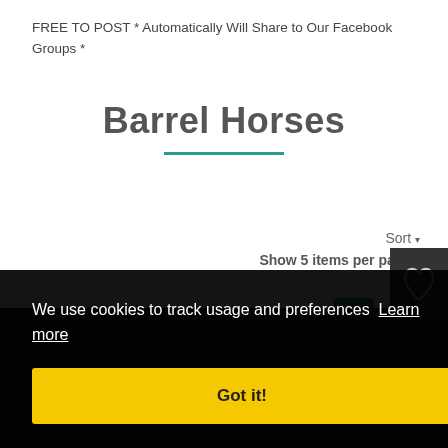FREE TO POST * Automatically Will Share to Our Facebook Groups *
Barrel Horses
Sort ▾
Show 5 items per page ▾
We use cookies to track usage and preferences Learn more
Got it!